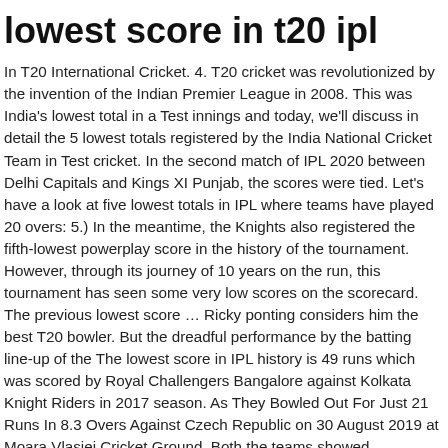lowest score in t20 ipl
In T20 International Cricket. 4. T20 cricket was revolutionized by the invention of the Indian Premier League in 2008. This was India's lowest total in a Test innings and today, we'll discuss in detail the 5 lowest totals registered by the India National Cricket Team in Test cricket. In the second match of IPL 2020 between Delhi Capitals and Kings XI Punjab, the scores were tied. Let's have a look at five lowest totals in IPL where teams have played 20 overs: 5.) In the meantime, the Knights also registered the fifth-lowest powerplay score in the history of the tournament. However, through its journey of 10 years on the run, this tournament has seen some very low scores on the scorecard. The previous lowest score … Ricky ponting considers him the best T20 bowler. But the dreadful performance by the batting line-up of the The lowest score in IPL history is 49 runs which was scored by Royal Challengers Bangalore against Kolkata Knight Riders in 2017 season. As They Bowled Out For Just 21 Runs In 8.3 Overs Against Czech Republic on 30 August 2019 at Moara Vlasiei Cricket Ground. Both the teams showed tremendous bowling and batters struggled for runs. They were chasing the target of 131 runs in that match. 1. In this article, we'll discuss the 5 lowest totals posted by team India in an innings of a Test